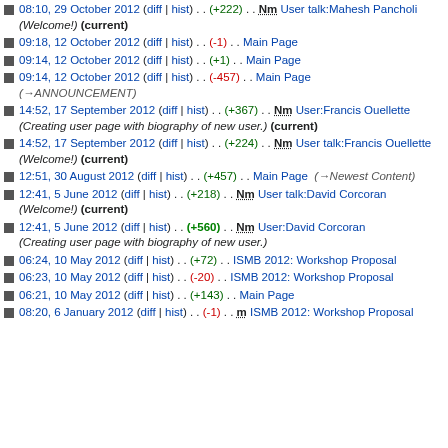08:10, 29 October 2012 (diff | hist) . . (+222) . . Nm User talk:Mahesh Pancholi (Welcome!) (current)
09:18, 12 October 2012 (diff | hist) . . (-1) . . Main Page
09:14, 12 October 2012 (diff | hist) . . (+1) . . Main Page
09:14, 12 October 2012 (diff | hist) . . (-457) . . Main Page (→ANNOUNCEMENT)
14:52, 17 September 2012 (diff | hist) . . (+367) . . Nm User:Francis Ouellette (Creating user page with biography of new user.) (current)
14:52, 17 September 2012 (diff | hist) . . (+224) . . Nm User talk:Francis Ouellette (Welcome!) (current)
12:51, 30 August 2012 (diff | hist) . . (+457) . . Main Page (→Newest Content)
12:41, 5 June 2012 (diff | hist) . . (+218) . . Nm User talk:David Corcoran (Welcome!) (current)
12:41, 5 June 2012 (diff | hist) . . (+560) . . Nm User:David Corcoran (Creating user page with biography of new user.)
06:24, 10 May 2012 (diff | hist) . . (+72) . . ISMB 2012: Workshop Proposal
06:23, 10 May 2012 (diff | hist) . . (-20) . . ISMB 2012: Workshop Proposal
06:21, 10 May 2012 (diff | hist) . . (+143) . . Main Page
08:20, 6 January 2012 (diff | hist) . . (-1) . . m ISMB 2012: Workshop Proposal